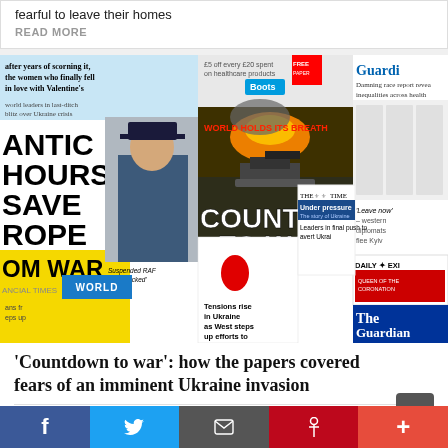fearful to leave their homes
READ MORE
[Figure (photo): Collage of UK newspaper front pages covering the Ukraine crisis, including Financial Times, Mirror, The Times, Daily Express, i newspaper, and The Guardian, with headlines about Ukraine invasion fears]
'Countdown to war': how the papers covered fears of an imminent Ukraine invasion
Feb 13, 2022